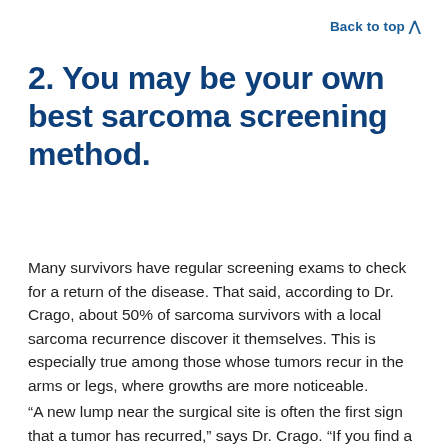Back to top ^
2. You may be your own best sarcoma screening method.
Many survivors have regular screening exams to check for a return of the disease. That said, according to Dr. Crago, about 50% of sarcoma survivors with a local sarcoma recurrence discover it themselves. This is especially true among those whose tumors recur in the arms or legs, where growths are more noticeable.
“A new lump near the surgical site is often the first sign that a tumor has recurred,” says Dr. Crago. “If you find a lump or see other changes in your skin…